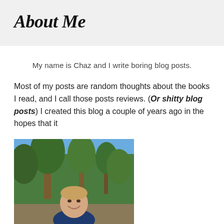About Me
My name is Chaz and I write boring blog posts.
Most of my posts are random thoughts about the books I read, and I call those posts reviews. (Or shitty blog posts) I created this blog a couple of years ago in the hopes that it
[Figure (photo): Outdoor photo of a smiling man with trees and blue sky in the background]